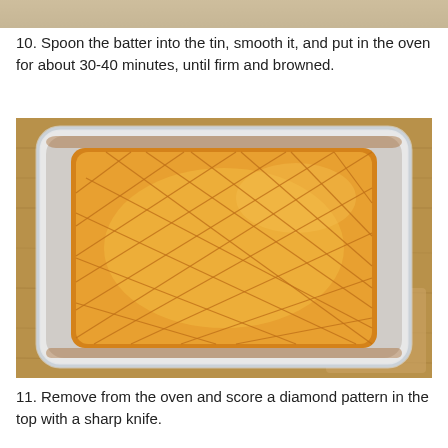[Figure (photo): Top portion of a photo showing batter or dough, cropped at the top of the page.]
10. Spoon the batter into the tin, smooth it, and put in the oven for about 30-40 minutes, until firm and browned.
[Figure (photo): A white enamel baking tin sitting on a wooden board, containing a golden-brown baked cake scored in a diamond pattern on top, placed on a wooden surface.]
11. Remove from the oven and score a diamond pattern in the top with a sharp knife.